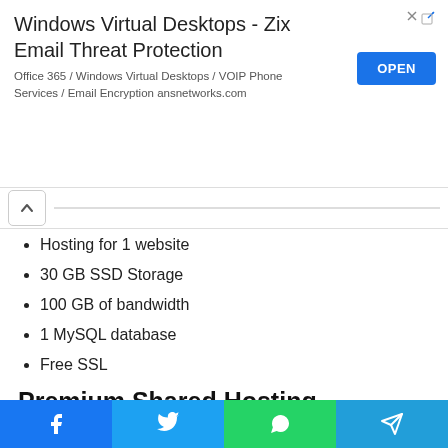[Figure (screenshot): Advertisement banner for 'Windows Virtual Desktops - Zix Email Threat Protection' with an OPEN button in blue. Subtitle: 'Office 365 / Windows Virtual Desktops / VOIP Phone Services / Email Encryption ansnetworks.com']
Hosting for 1 website
30 GB SSD Storage
100 GB of bandwidth
1 MySQL database
Free SSL
Premium Shared Hosting
Starting at $2.59 per month (renews at $5.99)
Hosting for up to a hundred websites